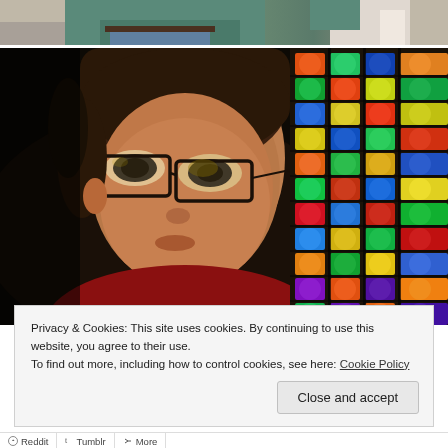[Figure (photo): Partial top photo showing a person in teal/green shirt holding something, against a light stone wall background]
[Figure (photo): Close-up portrait of a young boy wearing rectangular glasses and a red shirt, with colorful stained-glass style panels visible in the background on the right side]
Privacy & Cookies: This site uses cookies. By continuing to use this website, you agree to their use.
To find out more, including how to control cookies, see here: Cookie Policy
Close and accept
Reddit   Tumblr   More